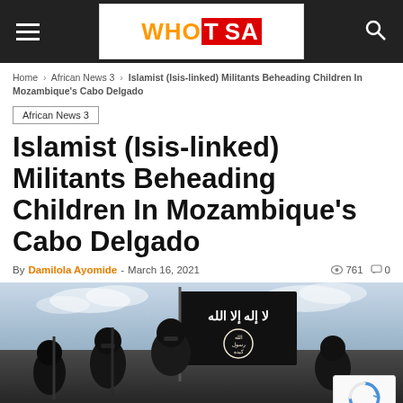WHOTSA navigation bar with logo
Home › African News 3 › Islamist (Isis-linked) Militants Beheading Children In Mozambique's Cabo Delgado
African News 3
Islamist (Isis-linked) Militants Beheading Children In Mozambique's Cabo Delgado
By Damilola Ayomide - March 16, 2021  761  0
[Figure (photo): Armed masked militants dressed in black, holding a black ISIS flag with Arabic script and emblem against a cloudy sky background]